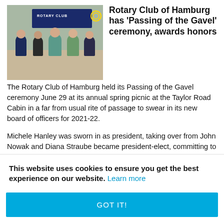[Figure (photo): Group photo of Rotary Club of Hamburg members standing in front of a Rotary Club sign/banner at the Taylor Road Cabin]
Rotary Club of Hamburg has 'Passing of the Gavel' ceremony, awards honors
The Rotary Club of Hamburg held its Passing of the Gavel ceremony June 29 at its annual spring picnic at the Taylor Road Cabin in a far from usual rite of passage to swear in its new board of officers for 2021-22.
Michele Hanley was sworn in as president, taking over from John Nowak and Diana Straube became president-elect, committing to be president next year. Other
This website uses cookies to ensure you get the best experience on our website. Learn more
GOT IT!